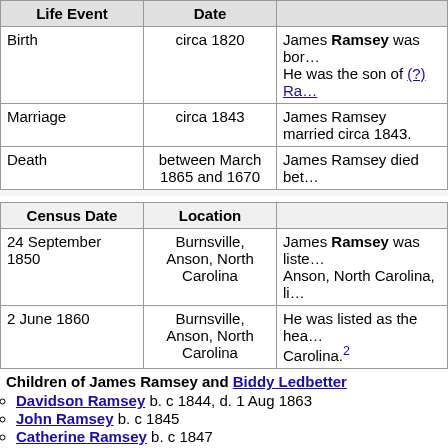| Life Event | Date |  |
| --- | --- | --- |
| Birth | circa 1820 | James Ramsey was born. He was the son of (?) Ra… |
| Marriage | circa 1843 | James Ramsey married circa 1843. |
| Death | between March 1865 and 1870 | James Ramsey died bet… |
| Census Date | Location |  |
| --- | --- | --- |
| 24 September 1850 | Burnsville, Anson, North Carolina | James Ramsey was listed… Anson, North Carolina, li… |
| 2 June 1860 | Burnsville, Anson, North Carolina | He was listed as the hea… Carolina.2 |
Children of James Ramsey and Biddy Ledbetter
Davidson Ramsey b. c 1844, d. 1 Aug 1863
John Ramsey b. c 1845
Catherine Ramsey b. c 1847
Sarah Ramsey b. c 1849
William R. Ramsey b. 3 Apr 1849, d. 23 Jan 1914
Franklin Ramsey b. c 1855, d. 20 Sep 1925
Marshall Adam Ramsey b. 1856, d. 29 May 1921